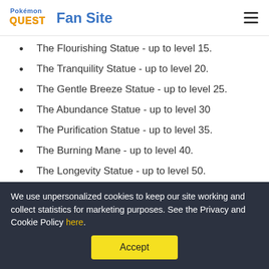Pokémon Quest Fan Site
The Flourishing Statue - up to level 15.
The Tranquility Statue - up to level 20.
The Gentle Breeze Statue - up to level 25.
The Abundance Statue - up to level 30
The Purification Statue - up to level 35.
The Burning Mane - up to level 40.
The Longevity Statue - up to level 50.
The Reverent Statue - up to level 60.
It's worth mentioning though that some of the
We use unpersonalized cookies to keep our site working and collect statistics for marketing purposes. See the Privacy and Cookie Policy here.